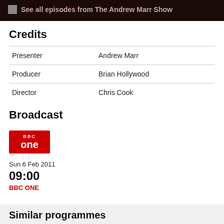See all episodes from The Andrew Marr Show
Credits
| Presenter | Andrew Marr |
| Producer | Brian Hollywood |
| Director | Chris Cook |
Broadcast
[Figure (logo): BBC One logo — red rectangle with 'BBC one' text in white]
Sun 6 Feb 2011
09:00
BBC ONE
Similar programmes